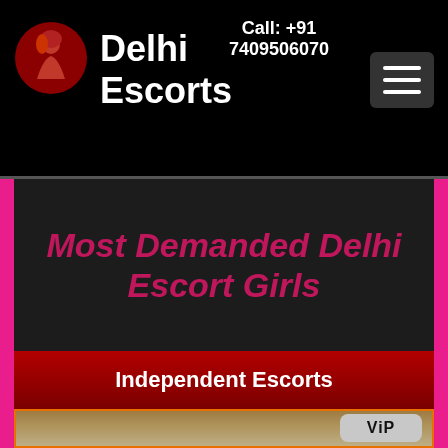Delhi Escorts | Call: +91 7409506070
Most Demanded Delhi Escort Girls
Independent Escorts
[Figure (photo): Blonde woman standing in front of frosted glass door, with a VIP badge overlay in the upper right corner]